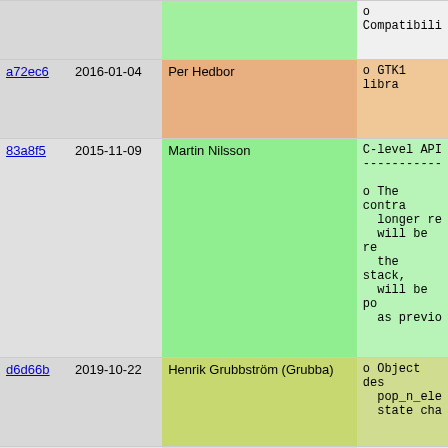| hash | date | author | message |
| --- | --- | --- | --- |
|  |  |  | o Compatibility |
| a72ec6 | 2016-01-04 | Per Hedbor | o GTK1 libra |
| 83a8f5 | 2015-11-09 | Martin Nilsson | C-level API
-----------
o The contra longer re will be re the stack, will be po as previo |
| d6d66b | 2019-10-22 | Henrik Grubbström (Grubba) | o Object des pop_n_ele state cha |
| 83a320 | 2016-01-29 | Martin Nilsson | o Removed ad |
| 4903e8 | 2016-01-30 | Martin Nilsson | simple_ad remaining |
| f1dbf0 | 2016-01-29 | Martin Nilsson | PIKE_MAP_V |
| 83a320 | 2016-01-29 | Martin Nilsson |  |
| 118000 | 2016-03-19 | Martin Nilsson | o Removed th |